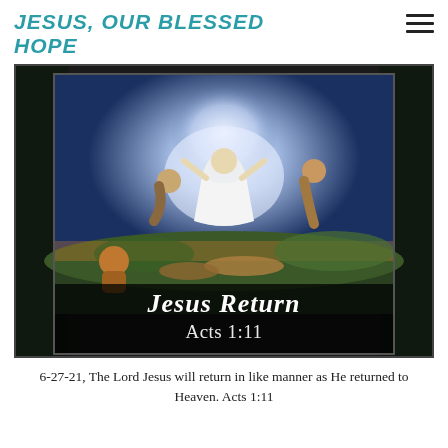JESUS, OUR BLESSED HOPE
[Figure (illustration): Religious painting of the Transfiguration of Jesus, showing Jesus ascending in white robes surrounded by figures, with overlay text 'Jesus Return Acts 1:11']
6-27-21, The Lord Jesus will return in like manner as He returned to Heaven. Acts 1:11